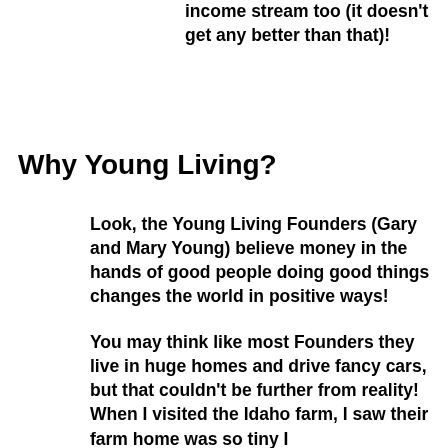income stream too (it doesn’t get any better than that)!
Why Young Living?
Look, the Young Living Founders (Gary and Mary Young) believe money in the hands of good people doing good things changes the world in positive ways!
You may think like most Founders they live in huge homes and drive fancy cars, but that couldn’t be further from reality! When I visited the Idaho farm, I saw their farm home was so tiny I